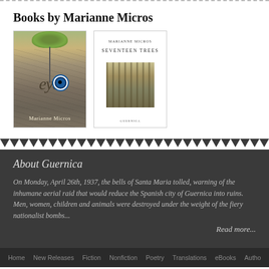Books by Marianne Micros
[Figure (photo): Book cover of 'ey0' by Marianne Micros — stone/earth texture with plant roots and an evil eye symbol]
[Figure (photo): Book cover of 'Seventeen Trees' by Marianne Micros — white cover with small forest image]
About Guernica
On Monday, April 26th, 1937, the bells of Santa Maria tolled, warning of the inhumane aerial raid that would reduce the Spanish city of Guernica into ruins. Men, women, children and animals were destroyed under the weight of the fiery nationalist bombs...
Read more...
Home  New Releases  Fiction  Nonfiction  Poetry  Translations  eBooks  Autho